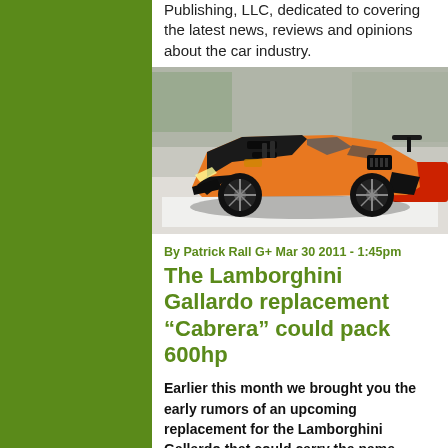Publishing, LLC, dedicated to covering the latest news, reviews and opinions about the car industry.
[Figure (photo): Orange and black Lamborghini Gallardo supercar displayed at an auto show]
By Patrick Rall G+ Mar 30 2011 - 1:45pm
The Lamborghini Gallardo replacement “Cabrera” could pack 600hp
Earlier this month we brought you the early rumors of an upcoming replacement for the Lamborghini Gallardo that could carry the name Cabrera and now we have more rumors suggesting that the next